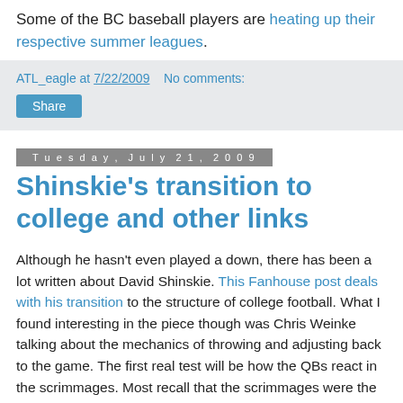Some of the BC baseball players are heating up their respective summer leagues.
ATL_eagle at 7/22/2009   No comments:
Share
Tuesday, July 21, 2009
Shinskie's transition to college and other links
Although he hasn't even played a down, there has been a lot written about David Shinskie. This Fanhouse post deals with his transition to the structure of college football. What I found interesting in the piece though was Chris Weinke talking about the mechanics of throwing and adjusting back to the game. The first real test will be how the QBs react in the scrimmages. Most recall that the scrimmages were the final indicator that the Crane-Davis combo would not come close to filling Matt Ryan's shoes.